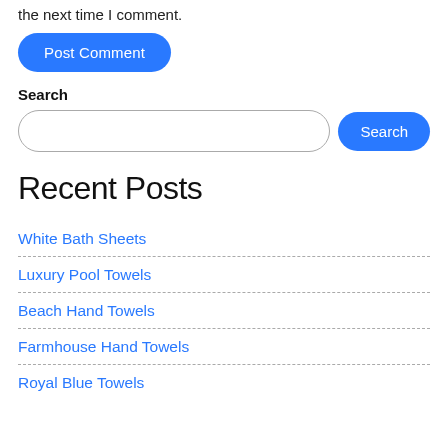the next time I comment.
Post Comment
Search
Recent Posts
White Bath Sheets
Luxury Pool Towels
Beach Hand Towels
Farmhouse Hand Towels
Royal Blue Towels